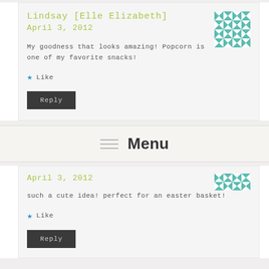Lindsay [Elle Elizabeth]
April 3, 2012
My goodness that looks amazing! Popcorn is one of my favorite snacks!
Like
Reply
Menu
April 3, 2012
such a cute idea! perfect for an easter basket!
Like
Reply